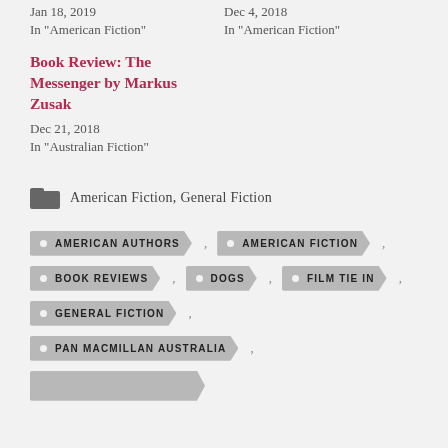Jan 18, 2019
In "American Fiction"
Dec 4, 2018
In "American Fiction"
Book Review: The Messenger by Markus Zusak
Dec 21, 2018
In "Australian Fiction"
American Fiction, General Fiction
AMERICAN AUTHORS
AMERICAN FICTION
BOOK REVIEWS
DOGS
FILM TIE IN
GENERAL FICTION
PAN MACMILLAN AUSTRALIA